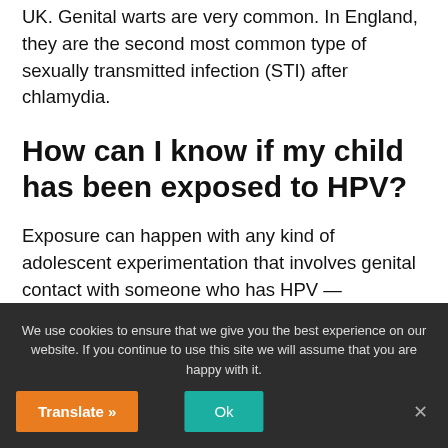UK. Genital warts are very common. In England, they are the second most common type of sexually transmitted infection (STI) after chlamydia.
How can I know if my child has been exposed to HPV?
Exposure can happen with any kind of adolescent experimentation that involves genital contact with someone who has HPV — intercourse isn't necessary, but it's
We use cookies to ensure that we give you the best experience on our website. If you continue to use this site we will assume that you are happy with it.